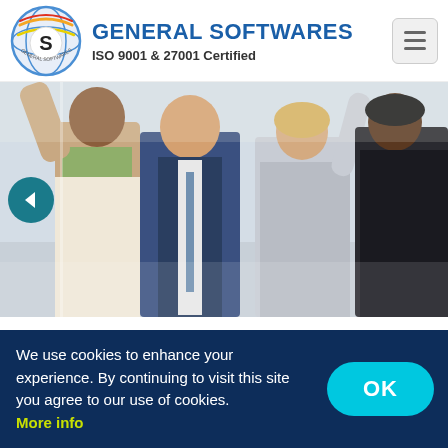GENERAL SOFTWARES — ISO 9001 & 27001 Certified
[Figure (photo): Four diverse business professionals celebrating with arms raised, smiling]
Technology is just like a double-edged sword, where on the bright side, we have ever-changing and features
We use cookies to enhance your experience. By continuing to visit this site you agree to our use of cookies. More info